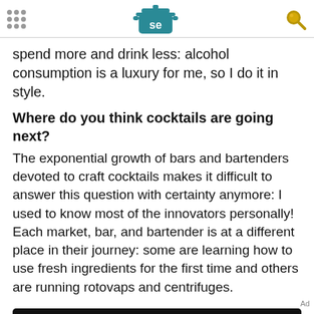[Serious Eats logo with navigation icons]
spend more and drink less: alcohol consumption is a luxury for me, so I do it in style.
Where do you think cocktails are going next?
The exponential growth of bars and bartenders devoted to craft cocktails makes it difficult to answer this question with certainty anymore: I used to know most of the innovators personally! Each market, bar, and bartender is at a different place in their journey: some are learning how to use fresh ingredients for the first time and others are running rotovaps and centrifuges.
Ad
[Figure (other): Dotdash Meredith advertisement banner: 'We help people find answers, solve problems and get inspired.']